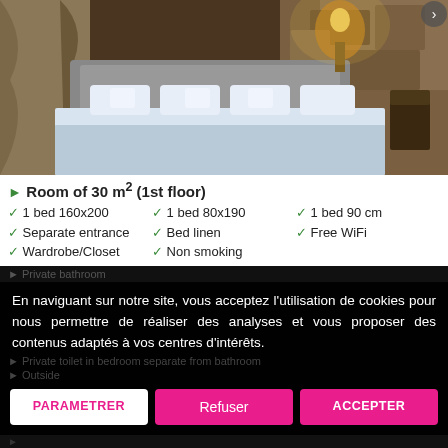[Figure (photo): Hotel bedroom with white bed, decorative pillows, stone walls, and warm lamp lighting]
Room of 30 m² (1st floor)
1 bed 160x200
1 bed 80x190
1 bed 90 cm
Separate entrance
Bed linen
Free WiFi
Wardrobe/Closet
Non smoking
En naviguant sur notre site, vous acceptez l'utilisation de cookies pour nous permettre de réaliser des analyses et vous proposer des contenus adaptés à vos centres d'intérêts.
PARAMETRER | Refuser | ACCEPTER